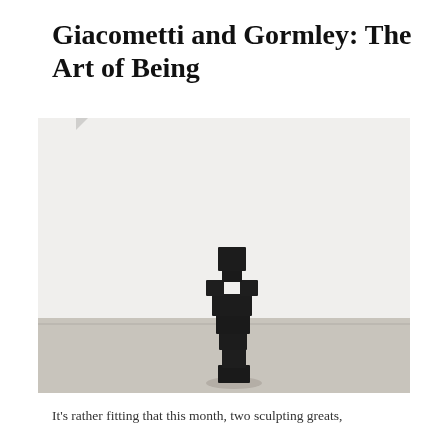Giacometti and Gormley: The Art of Being
[Figure (photo): A black blocky cuboid sculpture of a human figure made from stacked rectangular blocks, standing on a light grey concrete floor against a white wall. The figure resembles a stylized person assembled from dark geometric shapes.]
It's rather fitting that this month, two sculpting greats,